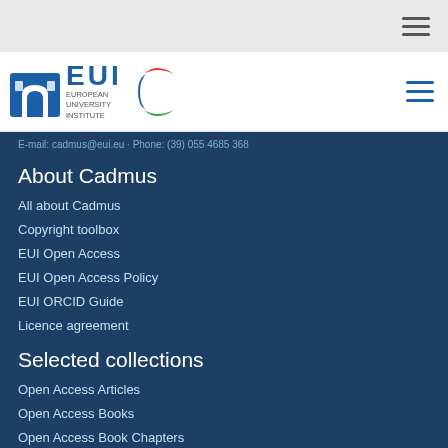[Figure (logo): EUI (European University Institute) logo with hamburger menu icons in top navigation bars]
E-mail: cadmus@eui.eu · Phone: (39) 055 4685 368
About Cadmus
All about Cadmus
Copyright toolbox
EUI Open Access
EUI Open Access Policy
EUI ORCID Guide
Licence agreement
Selected collections
Open Access Articles
Open Access Books
Open Access Book Chapters
Open Access Theses
Other Open Access Research Outputs
EUI Theses published as Books